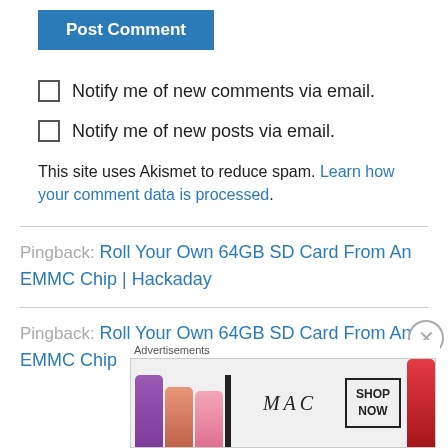[Figure (screenshot): Blue 'Post Comment' button at top left]
Notify me of new comments via email.
Notify me of new posts via email.
This site uses Akismet to reduce spam. Learn how your comment data is processed.
Pingback: Roll Your Own 64GB SD Card From An EMMC Chip | Hackaday
Pingback: Roll Your Own 64GB SD Card From An EMMC Chip
Advertisements
[Figure (photo): MAC Cosmetics advertisement showing lipsticks with SHOP NOW button]